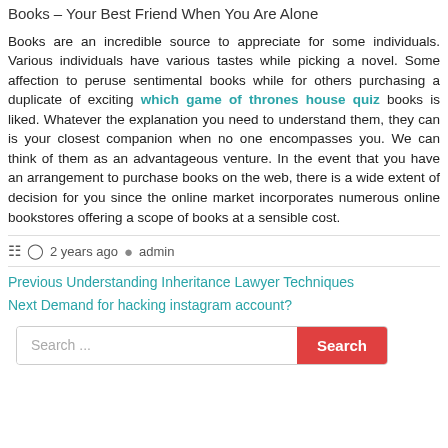Books – Your Best Friend When You Are Alone
Books are an incredible source to appreciate for some individuals. Various individuals have various tastes while picking a novel. Some affection to peruse sentimental books while for others purchasing a duplicate of exciting which game of thrones house quiz books is liked. Whatever the explanation you need to understand them, they can is your closest companion when no one encompasses you. We can think of them as an advantageous venture. In the event that you have an arrangement to purchase books on the web, there is a wide extent of decision for you since the online market incorporates numerous online bookstores offering a scope of books at a sensible cost.
2 years ago  admin
Previous Understanding Inheritance Lawyer Techniques
Next Demand for hacking instagram account?